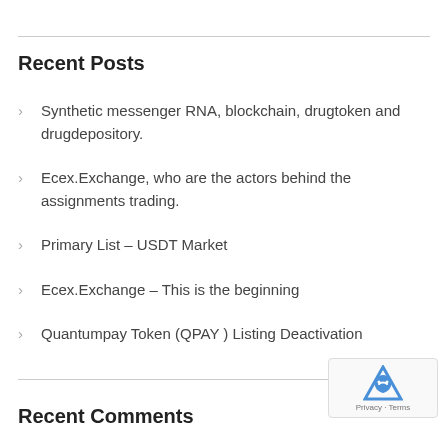Recent Posts
Synthetic messenger RNA, blockchain, drugtoken and drugdepository.
Ecex.Exchange, who are the actors behind the assignments trading.
Primary List – USDT Market
Ecex.Exchange – This is the beginning
Quantumpay Token (QPAY ) Listing Deactivation
Recent Comments